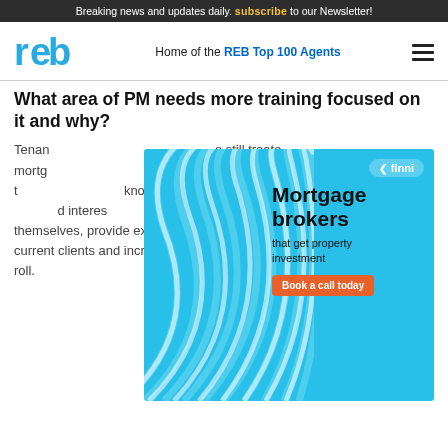Breaking news and updates daily. Subscribe to our Newsletter!
[Figure (logo): REB logo - stylized blue letters 'reb' with geometric shapes]
Home of the REB Top 100 Agents
What area of PM needs more training focused on it and why?
[Figure (infographic): Finni Mortgage brokers advertisement - cyan/blue background with wave pattern graphic. Text reads: finni, Mortgage brokers that get property investment. Button: Book a call today]
Tenancy management ... are still treated ... mortgage ... ents can be... ent as most t... know some... or new busine... d interes... rs for themselves, provide exceptional service for their current clients and increase their employer's rent roll.
What skills does a PM/BDM need to be